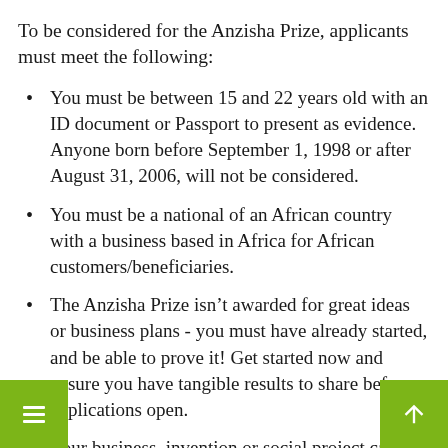To be considered for the Anzisha Prize, applicants must meet the following:
You must be between 15 and 22 years old with an ID document or Passport to present as evidence. Anyone born before September 1, 1998 or after August 31, 2006, will not be considered.
You must be a national of an African country with a business based in Africa for African customers/beneficiaries.
The Anzisha Prize isn't awarded for great ideas or business plans - you must have already started, and be able to prove it! Get started now and ensure you have tangible results to share before applications open.
Your business, invention or social project can be in any field or industry (science and technology, civil society, arts and culture, sports, etc.). Any